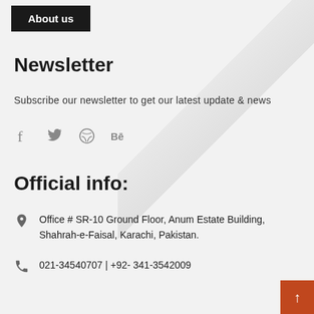About us
Newsletter
Subscribe our newsletter to get our latest update & news
[Figure (infographic): Social media icons: Facebook (f), Twitter (bird), Dribbble (basketball), Behance (Be)]
Official info:
Office # SR-10 Ground Floor, Anum Estate Building, Shahrah-e-Faisal, Karachi, Pakistan.
021-34540707 | +92- 341-3542009